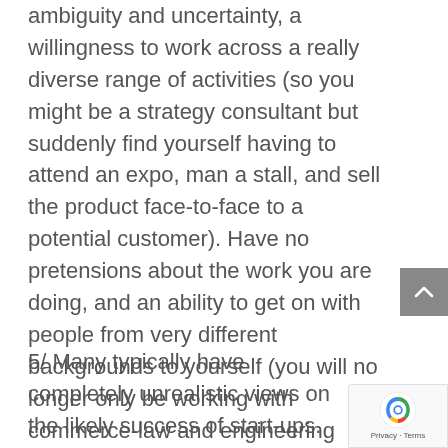ambiguity and uncertainty, a willingness to work across a really diverse range of activities (so you might be a strategy consultant but suddenly find yourself having to attend an expo, man a stall, and sell the product face-to-face to a potential customer). Have no pretensions about the work you are doing, and an ability to get on with people from very different backgrounds to yourself (you will no longer only be working with commerce-law and engineering graduates from UNSW and Sydney Uni).
5/ Many typically have completely unrealistic views on the likely success of start-ups. An almost infinitesimal number